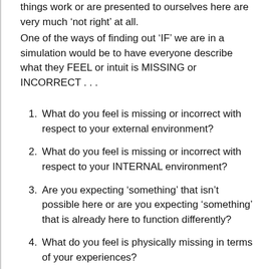things work or are presented to ourselves here are very much ‘not right’ at all.
One of the ways of finding out ‘IF’ we are in a simulation would be to have everyone describe what they FEEL or intuit is MISSING or INCORRECT . . .
What do you feel is missing or incorrect with respect to your external environment?
What do you feel is missing or incorrect with respect to your INTERNAL environment?
Are you expecting ‘something’ that isn’t possible here or are you expecting ‘something’ that is already here to function differently?
What do you feel is physically missing in terms of your experiences?
How do you feel about your physical body? Do you have a physical body? Is the body you have REALLY the one you are expecting? If peoples bodies ARE as they expect then why do we have so many people having cosmetic plastic surgery?